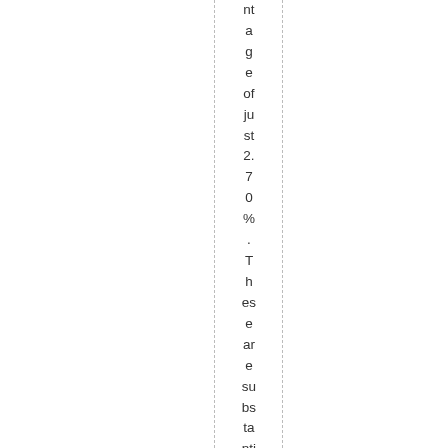age of just 2.70%. These are substantially more tolerable